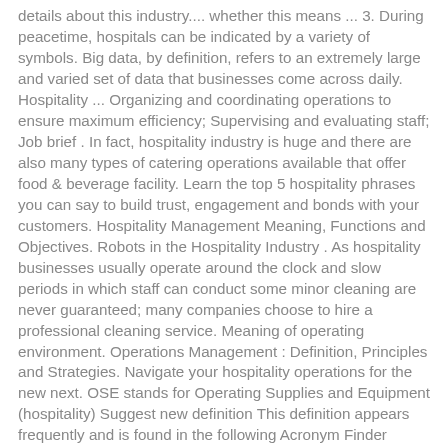details about this industry.... whether this means ... 3. During peacetime, hospitals can be indicated by a variety of symbols. Big data, by definition, refers to an extremely large and varied set of data that businesses come across daily. Hospitality ... Organizing and coordinating operations to ensure maximum efficiency; Supervising and evaluating staff; Job brief . In fact, hospitality industry is huge and there are also many types of catering operations available that offer food & beverage facility. Learn the top 5 hospitality phrases you can say to build trust, engagement and bonds with your customers. Hospitality Management Meaning, Functions and Objectives. Robots in the Hospitality Industry . As hospitality businesses usually operate around the clock and slow periods in which staff can conduct some minor cleaning are never guaranteed; many companies choose to hire a professional cleaning service. Meaning of operating environment. Operations Management : Definition, Principles and Strategies. Navigate your hospitality operations for the new next. OSE stands for Operating Supplies and Equipment (hospitality) Suggest new definition This definition appears frequently and is found in the following Acronym Finder categories: Students will acquire the knowledge to oversee business in both travel arrangements and promotion, and the condition of traveler facilities. You will be responsible for coordinating activities and helping people reach